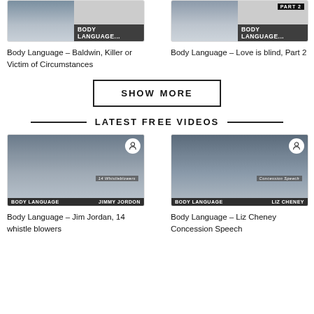[Figure (screenshot): Thumbnail for Body Language – Baldwin, Killer or Victim of Circumstances video]
Body Language – Baldwin, Killer or Victim of Circumstances
[Figure (screenshot): Thumbnail for Body Language – Love is blind, Part 2 video]
Body Language – Love is blind, Part 2
SHOW MORE
LATEST FREE VIDEOS
[Figure (screenshot): Thumbnail for Body Language – Jim Jordan, 14 whistle blowers video]
Body Language – Jim Jordan, 14 whistle blowers
[Figure (screenshot): Thumbnail for Body Language – Liz Cheney Concession Speech video]
Body Language – Liz Cheney Concession Speech